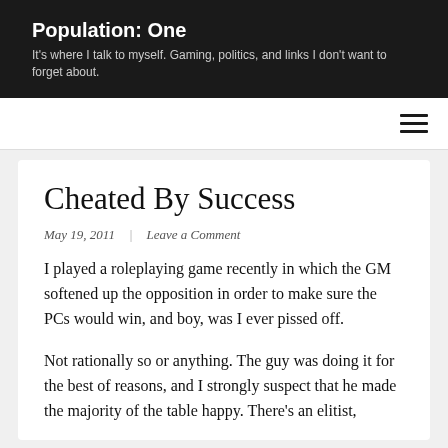Population: One
It's where I talk to myself. Gaming, politics, and links I don't want to forget about.
Cheated By Success
May 19, 2011    Leave a Comment
I played a roleplaying game recently in which the GM softened up the opposition in order to make sure the PCs would win, and boy, was I ever pissed off.
Not rationally so or anything. The guy was doing it for the best of reasons, and I strongly suspect that he made the majority of the table happy. There's an elitist,